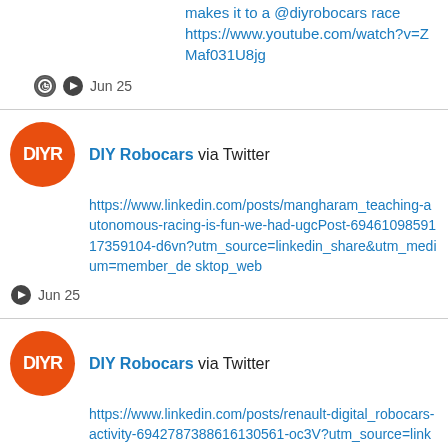makes it to a @diyrobocars race https://www.youtube.com/watch?v=ZMaf031U8jg
Jun 25
DIY Robocars via Twitter
https://www.linkedin.com/posts/mangharam_teaching-autonomous-racing-is-fun-we-had-ugcPost-6946109859117359104-d6vn?utm_source=linkedin_share&utm_medium=member_desktop_web
Jun 25
DIY Robocars via Twitter
https://www.linkedin.com/posts/renault-digital_robocars-activity-6942787388616130561-oc3V?utm_source=linkedin_share&utm_medium=member_desktop_web
Jun 16